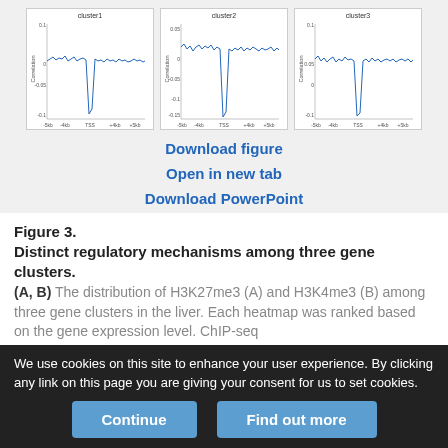[Figure (continuous-plot): Three line plots (cluster1, cluster2, cluster3) showing Correlation vs genomic position (-5kb, -4kb, TSS, +4kb, +5kb). Each plot shows a blue waveform with a prominent dip near the TSS. Cluster1 y-axis: -0.1 to 0.1; Cluster2 y-axis: -0.15 to 0.05; Cluster3 y-axis: -0.1 to 0.1.]
Download figure
Open in new tab
Download PowerPoint
Figure 3.
Distinct regulatory mechanisms among three gene clusters.
(A, B) The distribution of H3K27me3 (A) and H3K4me3 (B) among three gene clusters in the liver. Each heatmap was ranked based on the gene expression level. ChIP-seq
We use cookies on this site to enhance your user experience. By clicking any link on this page you are giving your consent for us to set cookies.